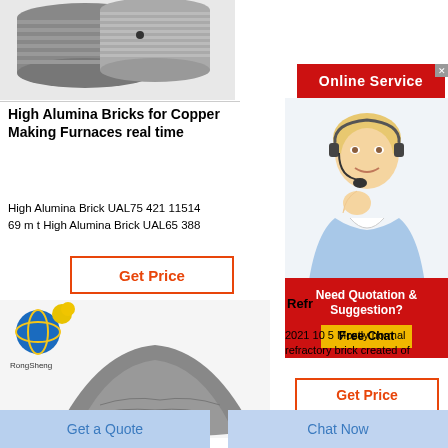[Figure (photo): Close-up photo of industrial metal bricks/rods, gray cylindrical refractory products]
High Alumina Bricks for Copper Making Furnaces real time
High Alumina Brick UAL75 421 11514 69 m t High Alumina Brick UAL65 388
Get Price
[Figure (photo): RongSheng logo with globe icon, and a pile of gray refractory powder/material]
[Figure (photo): Online service banner with female customer service agent wearing headset]
Online Service
Need Quotation & Suggestion?
Free Chat
Refr
2021 10 5 Mostly normal refractory brick created of
Get Price
Get a Quote
Chat Now